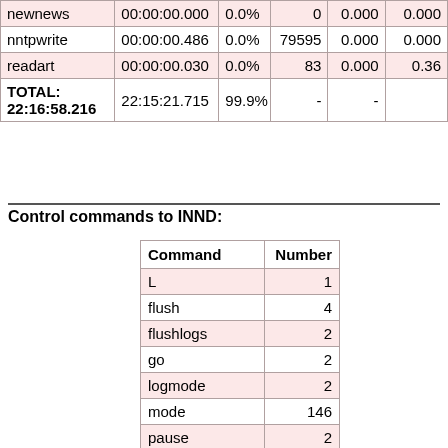|  |  |  |  |  |  |
| --- | --- | --- | --- | --- | --- |
| newnews | 00:00:00.000 | 0.0% | 0 | 0.000 | 0.000 |
| nntpwrite | 00:00:00.486 | 0.0% | 79595 | 0.000 | 0.000 |
| readart | 00:00:00.030 | 0.0% | 83 | 0.000 | 0.36 |
| TOTAL: 22:16:58.216 | 22:15:21.715 | 99.9% | - | - |  |
Control commands to INND:
| Command | Number |
| --- | --- |
| L | 1 |
| flush | 4 |
| flushlogs | 2 |
| go | 2 |
| logmode | 2 |
| mode | 146 |
| pause | 2 |
| paused | 2 |
| reload | 2 |
| reserve | 2 |
| TOTAL: 10 | 165 |